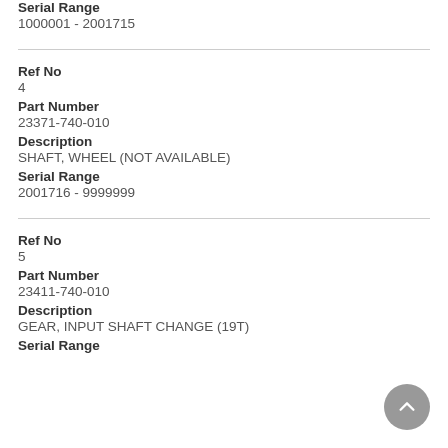Serial Range
1000001 - 2001715
Ref No
4
Part Number
23371-740-010
Description
SHAFT, WHEEL (NOT AVAILABLE)
Serial Range
2001716 - 9999999
Ref No
5
Part Number
23411-740-010
Description
GEAR, INPUT SHAFT CHANGE (19T)
Serial Range